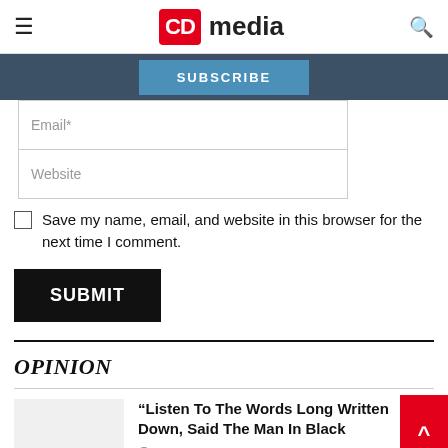CD media
SUBSCRIBE
Email*
Website
Save my name, email, and website in this browser for the next time I comment.
SUBMIT
OPINION
“Listen To The Words Long Written Down, Said The Man In Black
August 21, 2022  0